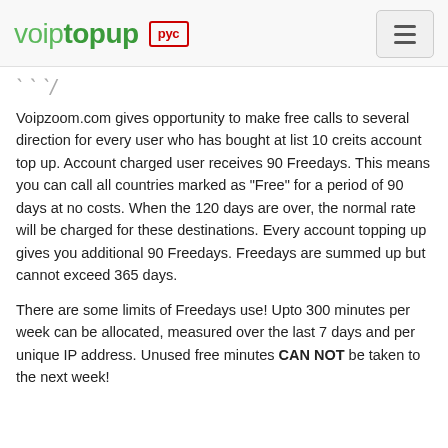voiptopup рус
Voipzoom.com gives opportunity to make free calls to several direction for every user who has bought at list 10 creits account top up. Account charged user receives 90 Freedays. This means you can call all countries marked as "Free" for a period of 90 days at no costs. When the 120 days are over, the normal rate will be charged for these destinations. Every account topping up gives you additional 90 Freedays. Freedays are summed up but cannot exceed 365 days.
There are some limits of Freedays use! Upto 300 minutes per week can be allocated, measured over the last 7 days and per unique IP address. Unused free minutes CAN NOT be taken to the next week!